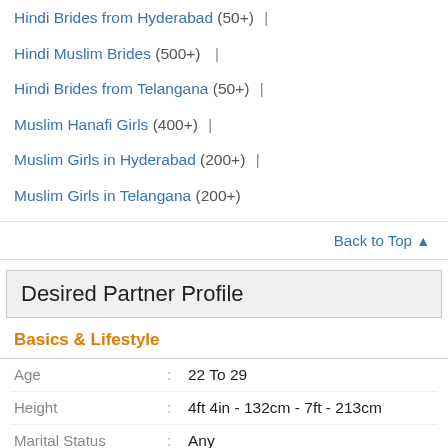Hindi Brides from Hyderabad (50+) |
Hindi Muslim Brides (500+) |
Hindi Brides from Telangana (50+) |
Muslim Hanafi Girls (400+) |
Muslim Girls in Hyderabad (200+) |
Muslim Girls in Telangana (200+)
Back to Top ↑
Desired Partner Profile
Basics & Lifestyle
| Field | : | Value |
| --- | --- | --- |
| Age | : | 22 To 29 |
| Height | : | 4ft 4in - 132cm - 7ft - 213cm |
| Marital Status | : | Any |
| Country | : | Any |
| Personal Values | : | Any |
| Complexion | : | Any |